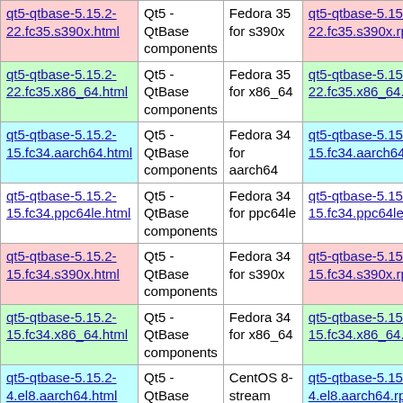| File | Component | Distribution | RPM |
| --- | --- | --- | --- |
| qt5-qtbase-5.15.2-22.fc35.s390x.html | Qt5 - QtBase components | Fedora 35 for s390x | qt5-qtbase-5.15.2-22.fc35.s390x.rpm |
| qt5-qtbase-5.15.2-22.fc35.x86_64.html | Qt5 - QtBase components | Fedora 35 for x86_64 | qt5-qtbase-5.15.2-22.fc35.x86_64.rpm |
| qt5-qtbase-5.15.2-15.fc34.aarch64.html | Qt5 - QtBase components | Fedora 34 for aarch64 | qt5-qtbase-5.15.2-15.fc34.aarch64.rpm |
| qt5-qtbase-5.15.2-15.fc34.ppc64le.html | Qt5 - QtBase components | Fedora 34 for ppc64le | qt5-qtbase-5.15.2-15.fc34.ppc64le.rpm |
| qt5-qtbase-5.15.2-15.fc34.s390x.html | Qt5 - QtBase components | Fedora 34 for s390x | qt5-qtbase-5.15.2-15.fc34.s390x.rpm |
| qt5-qtbase-5.15.2-15.fc34.x86_64.html | Qt5 - QtBase components | Fedora 34 for x86_64 | qt5-qtbase-5.15.2-15.fc34.x86_64.rpm |
| qt5-qtbase-5.15.2-4.el8.aarch64.html | Qt5 - QtBase components | CentOS 8-stream AppStream for aarch64 | qt5-qtbase-5.15.2-4.el8.aarch64.rpm |
|  | Qt5 - | CentOS 8-stream |  |